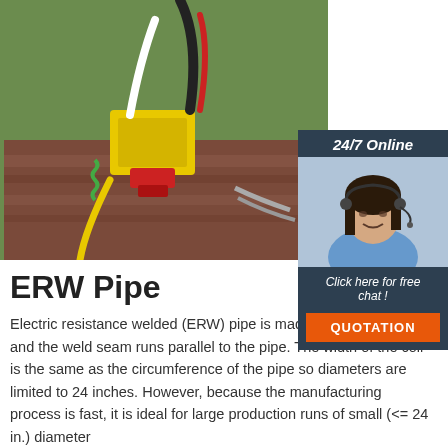[Figure (photo): Photo of ERW pipe welding equipment — yellow device with colored cables/wires attached to a large pipe, industrial setting with green floor.]
[Figure (photo): 24/7 Online customer service — smiling woman with headset in blue shirt on dark navy background with 'Click here for free chat!' and orange QUOTATION button.]
ERW Pipe
Electric resistance welded (ERW) pipe is made from steel coil and the weld seam runs parallel to the pipe. The width of the coil is the same as the circumference of the pipe so diameters are limited to 24 inches. However, because the manufacturing process is fast, it is ideal for large production runs of small (<= 24 in.) diameter